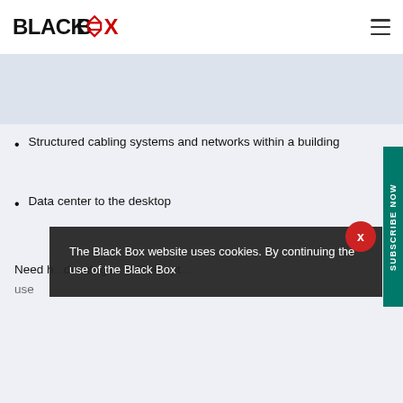BLACK BOX
Structured cabling systems and networks within a building
Data center to the desktop
Need h... dvantages of fiber opt... use of the Black Box...
The Black Box website uses cookies. By continuing the use of the Black Box
SUBSCRIBE NOW